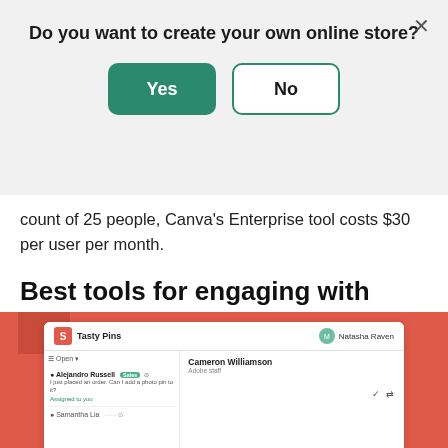Do you want to create your own online store?
Yes
No
count of 25 people, Canva's Enterprise tool costs $30 per user per month.
Best tools for engaging with people on social media
3. Shopify Inbox
[Figure (screenshot): Screenshot of Shopify Inbox interface showing a conversation list on a coral/red background, with contacts Alejandro Russell and Samantha Lia on the left panel and Cameron Williamson chat on the right panel.]